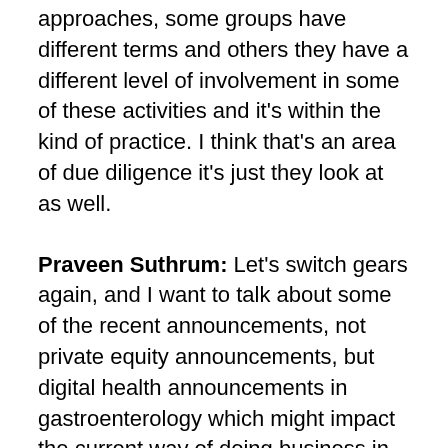approaches, some groups have different terms and others they have a different level of involvement in some of these activities and it's within the kind of practice. I think that's an area of due diligence it's just they look at as well.
Praveen Suthrum: Let's switch gears again, and I want to talk about some of the recent announcements, not private equity announcements, but digital health announcements in gastroenterology which might impact the current way of doing business in GI.